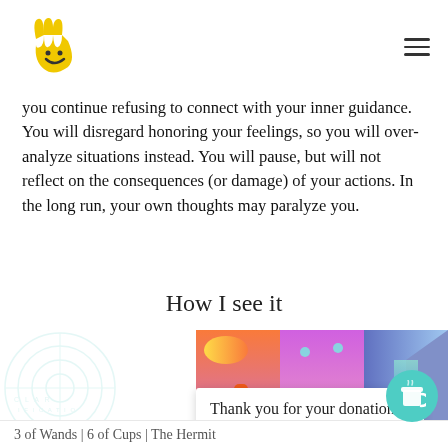[Logo: hand icon] [Hamburger menu]
you continue refusing to connect with your inner guidance. You will disregard honoring your feelings, so you will over-analyze situations instead. You will pause, but will not reflect on the consequences (or damage) of your actions. In the long run, your own thoughts may paralyze you.
How I see it
[Figure (illustration): Three colorful abstract illustrations side by side: a warm gradient scene with orange and yellow blob shapes, a pink/purple gradient with a sun-like orange circle, and a blue/green corridor with glowing light.]
Thank you for your donation!
3 of Wands | 6 of Cups | The Hermit